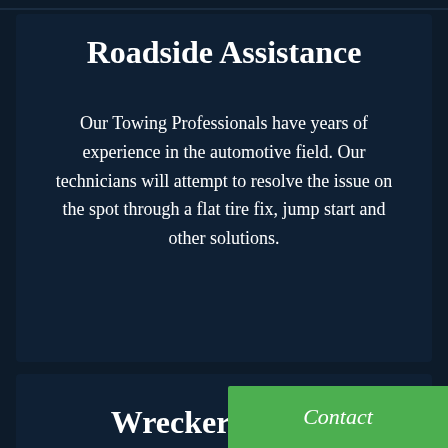Roadside Assistance
Our Towing Professionals have years of experience in the automotive field. Our technicians will attempt to resolve the issue on the spot through a flat tire fix, jump start and other solutions.
Wrecker Service
Wolfpack Towing Service Roanoke VA are known to provide towing services wherever you are or when you need our
Contact